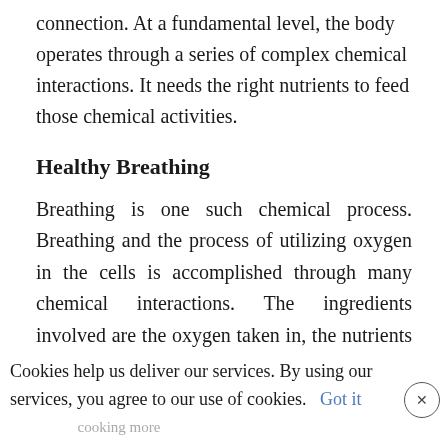connection. At a fundamental level, the body operates through a series of complex chemical interactions. It needs the right nutrients to feed those chemical activities.
Healthy Breathing
Breathing is one such chemical process. Breathing and the process of utilizing oxygen in the cells is accomplished through many chemical interactions. The ingredients involved are the oxygen taken in, the nutrients consumed and what the body creates out of those nutrients.
Cookies help us deliver our services. By using our services, you agree to our use of cookies.   Got it